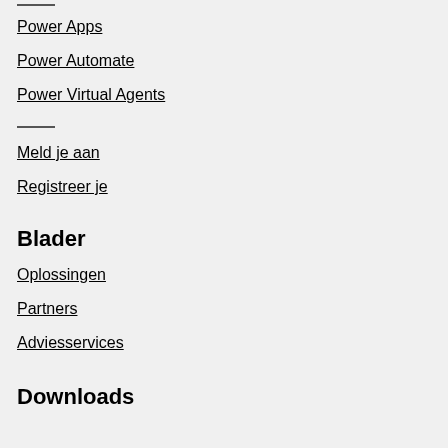Power Apps
Power Automate
Power Virtual Agents
Meld je aan
Registreer je
Blader
Oplossingen
Partners
Adviesservices
Downloads